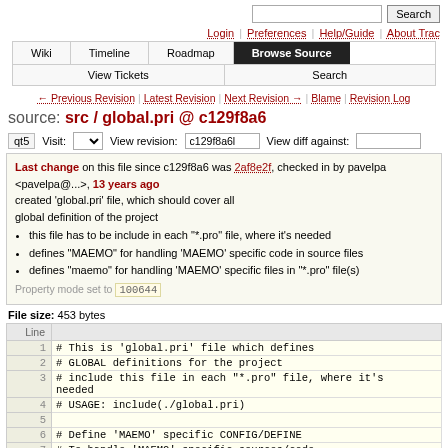Search | Login | Preferences | Help/Guide | About Trac
Wiki | Timeline | Roadmap | Browse Source | View Tickets | Search
← Previous Revision | Latest Revision | Next Revision → | Blame | Revision Log
source: src / global.pri @ c129f8a6
qt5  Visit:  View revision: c129f8a6l  View diff against:
Last change on this file since c129f8a6 was 2af8e2f, checked in by pavelpa <pavelpa@...>, 13 years ago
created 'global.pri' file, which should cover all global definition of the project
this file has to be include in each "*.pro" file, where it's needed
defines "MAEMO" for handling 'MAEMO' specific code in source files
defines "maemo" for handling 'MAEMO' specific files in "*.pro" file(s)
Property mode set to 100644
File size: 453 bytes
| Line |  |
| --- | --- |
| 1 | # This is 'global.pri' file which defines |
| 2 | # GLOBAL definitions for the project |
| 3 | # include this file in each "*.pro" file, where it's
needed |
| 4 | # USAGE: include(./global.pri) |
| 5 |  |
| 6 | # Define 'MAEMO' specific CONFIG/DEFINE |
| 7 | # To handle 'MAEMO' specific sources/code |